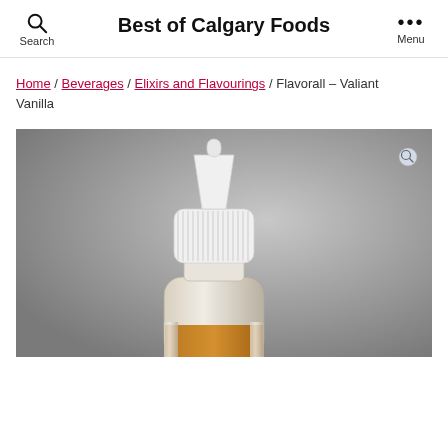Best of Calgary Foods
Home / Beverages / Elixirs and Flavourings / Flavorall – Valiant Vanilla
[Figure (photo): Close-up photo of a small dropper bottle with a white ribbed cap and dropper tip, containing a golden/amber liquid, photographed against a grey gradient background.]